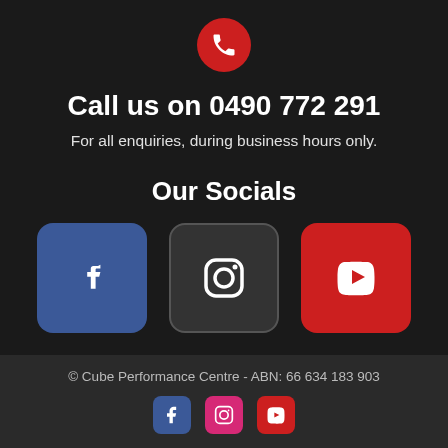[Figure (illustration): Red circle phone icon]
Call us on 0490 772 291
For all enquiries, during business hours only.
Our Socials
[Figure (illustration): Three social media icons: Facebook (blue), Instagram (dark), YouTube (red)]
© Cube Performance Centre - ABN: 66 634 183 903
[Figure (illustration): Footer social icons: Facebook, Instagram, YouTube]